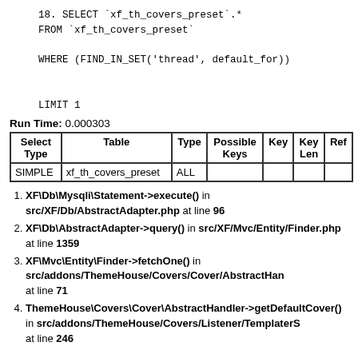18. SELECT `xf_th_covers_preset`.* FROM `xf_th_covers_preset` WHERE (FIND_IN_SET('thread', default_for)) LIMIT 1
Run Time: 0.000303
| Select Type | Table | Type | Possible Keys | Key | Key Len | Ref |
| --- | --- | --- | --- | --- | --- | --- |
| SIMPLE | xf_th_covers_preset | ALL |  |  |  |  |
XF\Db\Mysqli\Statement->execute() in src/XF/Db/AbstractAdapter.php at line 96
XF\Db\AbstractAdapter->query() in src/XF/Mvc/Entity/Finder.php at line 1359
XF\Mvc\Entity\Finder->fetchOne() in src/addons/ThemeHouse/Covers/Cover/AbstractHandler.php at line 71
ThemeHouse\Covers\Cover\AbstractHandler->getDefaultCover() in src/addons/ThemeHouse/Covers/Listener/TemplaterS at line 246